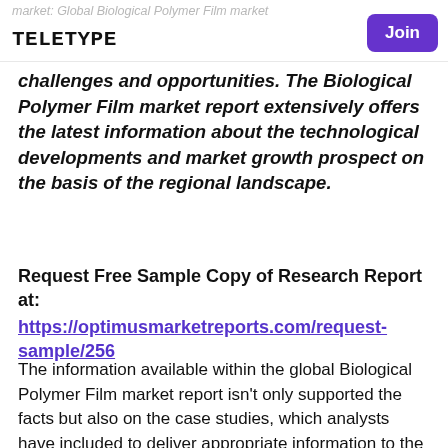market: Global Biological Polymer Film market
teletype
Join
challenges and opportunities. The Biological Polymer Film market report extensively offers the latest information about the technological developments and market growth prospect on the basis of the regional landscape.
Request Free Sample Copy of Research Report at: https://optimusmarketreports.com/request-sample/256
The information available within the global Biological Polymer Film market report isn't only supported the facts but also on the case studies, which analysts have included to deliver appropriate information to the clients during a well-versed manner. Moreover, for better understanding, the report includes statistical figures, graphs, tables, and charts associated with the